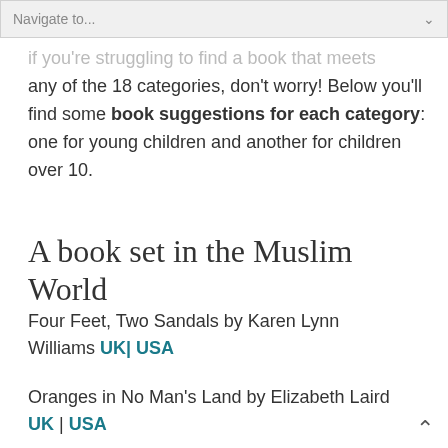Navigate to...
if you're struggling to find a book that meets any of the 18 categories, don't worry! Below you'll find some book suggestions for each category: one for young children and another for children over 10.
A book set in the Muslim World
Four Feet, Two Sandals by Karen Lynn Williams UK| USA
Oranges in No Man's Land by Elizabeth Laird UK | USA